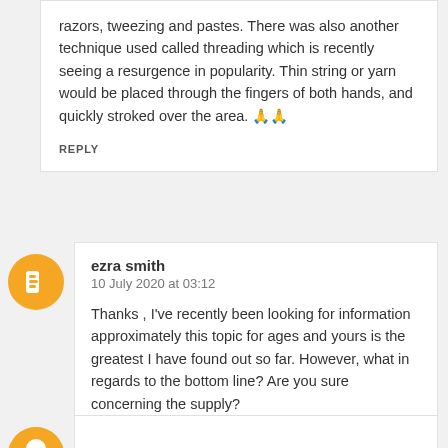razors, tweezing and pastes. There was also another technique used called threading which is recently seeing a resurgence in popularity. Thin string or yarn would be placed through the fingers of both hands, and quickly stroked over the area. 🙏🙏
REPLY
ezra smith
10 July 2020 at 03:12
Thanks , I've recently been looking for information approximately this topic for ages and yours is the greatest I have found out so far. However, what in regards to the bottom line? Are you sure concerning the supply? coconut oil uses
REPLY